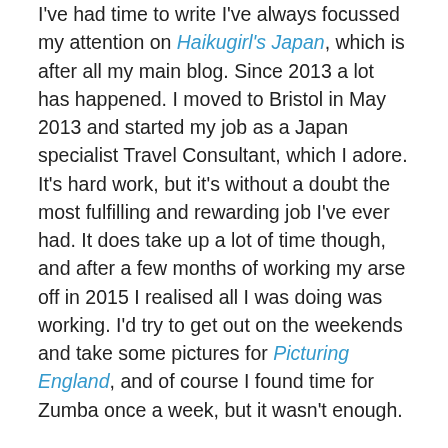I've had time to write I've always focussed my attention on Haikugirl's Japan, which is after all my main blog. Since 2013 a lot has happened. I moved to Bristol in May 2013 and started my job as a Japan specialist Travel Consultant, which I adore. It's hard work, but it's without a doubt the most fulfilling and rewarding job I've ever had. It does take up a lot of time though, and after a few months of working my arse off in 2015 I realised all I was doing was working. I'd try to get out on the weekends and take some pictures for Picturing England, and of course I found time for Zumba once a week, but it wasn't enough.
Some girls at work were talking about a salsa class they went to one night a week, and that really appealed to me. I used to dance a little bit, back when I did musicals as a kid, and I've always liked music-related exercise a lot more than anything else, so it seemed like the perfect